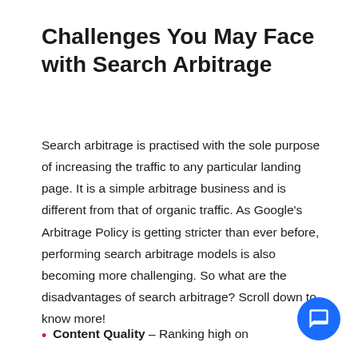Challenges You May Face with Search Arbitrage
Search arbitrage is practised with the sole purpose of increasing the traffic to any particular landing page. It is a simple arbitrage business and is different from that of organic traffic. As Google’s Arbitrage Policy is getting stricter than ever before, performing search arbitrage models is also becoming more challenging. So what are the disadvantages of search arbitrage? Scroll down to know more!
Content Quality – Ranking high on